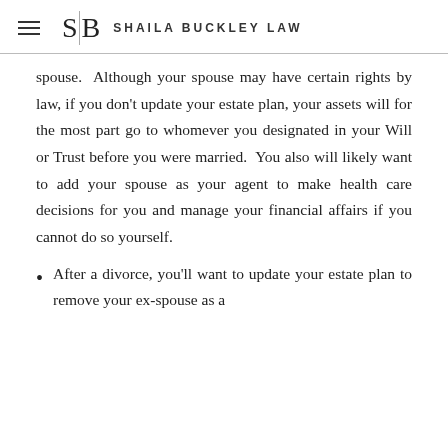S|B SHAILA BUCKLEY LAW
spouse.  Although your spouse may have certain rights by law, if you don't update your estate plan, your assets will for the most part go to whomever you designated in your Will or Trust before you were married.  You also will likely want to add your spouse as your agent to make health care decisions for you and manage your financial affairs if you cannot do so yourself.
After a divorce, you'll want to update your estate plan to remove your ex-spouse as a